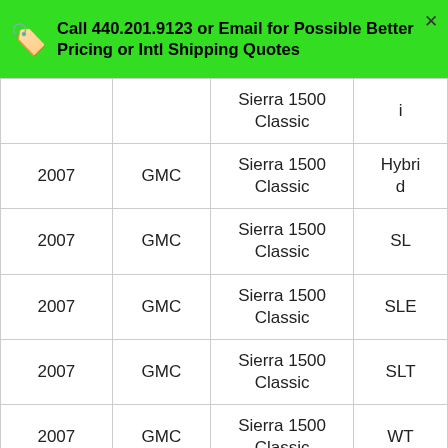Call 440.201.9123 or Email for Possible Better Pricing or Intl Shipping Quotes
|  |  | Sierra 1500 Classic | i |
| 2007 | GMC | Sierra 1500 Classic | Hybrid d |
| 2007 | GMC | Sierra 1500 Classic | SL |
| 2007 | GMC | Sierra 1500 Classic | SLE |
| 2007 | GMC | Sierra 1500 Classic | SLT |
| 2007 | GMC | Sierra 1500 Classic | WT |